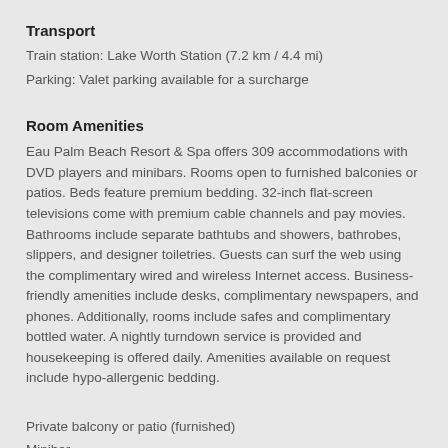Transport
Train station: Lake Worth Station (7.2 km / 4.4 mi)
Parking: Valet parking available for a surcharge
Room Amenities
Eau Palm Beach Resort & Spa offers 309 accommodations with DVD players and minibars. Rooms open to furnished balconies or patios. Beds feature premium bedding. 32-inch flat-screen televisions come with premium cable channels and pay movies. Bathrooms include separate bathtubs and showers, bathrobes, slippers, and designer toiletries. Guests can surf the web using the complimentary wired and wireless Internet access. Business-friendly amenities include desks, complimentary newspapers, and phones. Additionally, rooms include safes and complimentary bottled water. A nightly turndown service is provided and housekeeping is offered daily. Amenities available on request include hypo-allergenic bedding.
Private balcony or patio (furnished)
Minibar
In-room dining (24 hours)
Flat-screen television